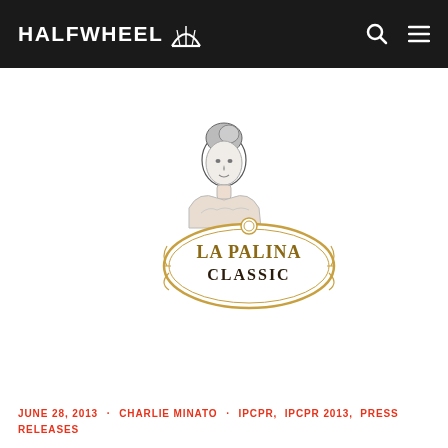HALFWHEEL
[Figure (logo): La Palina Classic brand logo: black and white illustration of a woman above an oval banner reading 'LA PALINA CLASSIC']
JUNE 28, 2013 · CHARLIE MINATO · IPCPR, IPCPR 2013, PRESS RELEASES